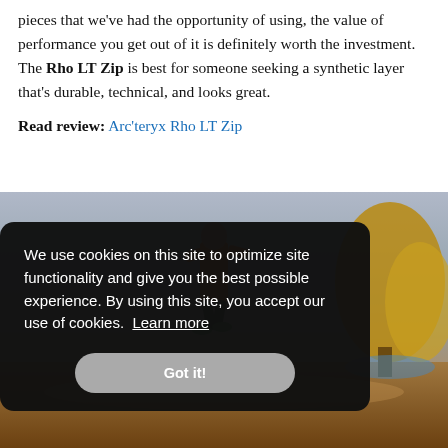pieces that we've had the opportunity of using, the value of performance you get out of it is definitely worth the investment. The Rho LT Zip is best for someone seeking a synthetic layer that's durable, technical, and looks great.
Read review: Arc'teryx Rho LT Zip
[Figure (photo): Photo of a person running or hiking on a trail, wearing an orange jacket and green shoes, with trees and a blue sky in the background. A cookie consent overlay covers the lower-left portion of the photo.]
We use cookies on this site to optimize site functionality and give you the best possible experience. By using this site, you accept our use of cookies. Learn more